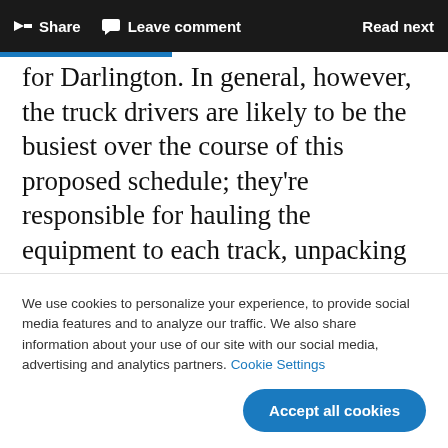Share   Leave comment   Read next
for Darlington. In general, however, the truck drivers are likely to be the busiest over the course of this proposed schedule; they’re responsible for hauling the equipment to each track, unpacking it, and then packing everything up the same day before heading back to the shop in order to
We use cookies to personalize your experience, to provide social media features and to analyze our traffic. We also share information about your use of our site with our social media, advertising and analytics partners. Cookie Settings
Accept all cookies